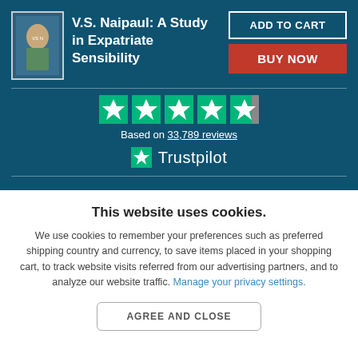[Figure (illustration): Book cover thumbnail for V.S. Naipaul: A Study in Expatriate Sensibility]
V.S. Naipaul: A Study in Expatriate Sensibility
ADD TO CART
BUY NOW
[Figure (other): Trustpilot rating: 4.5 stars based on 33,789 reviews with Trustpilot logo]
Based on 33,789 reviews
Trustpilot
This website uses cookies.
We use cookies to remember your preferences such as preferred shipping country and currency, to save items placed in your shopping cart, to track website visits referred from our advertising partners, and to analyze our website traffic. Manage your privacy settings.
AGREE AND CLOSE